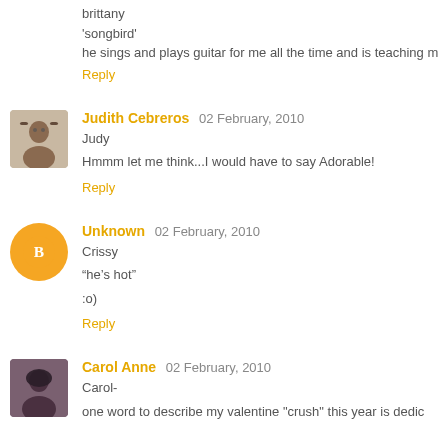brittany
'songbird'
he sings and plays guitar for me all the time and is teaching m
Reply
Judith Cebreros 02 February, 2010
Judy
Hmmm let me think...I would have to say Adorable!
Reply
Unknown 02 February, 2010
Crissy
"he's hot"
:o)
Reply
Carol Anne 02 February, 2010
Carol-
one word to describe my valentine "crush" this year is dedic